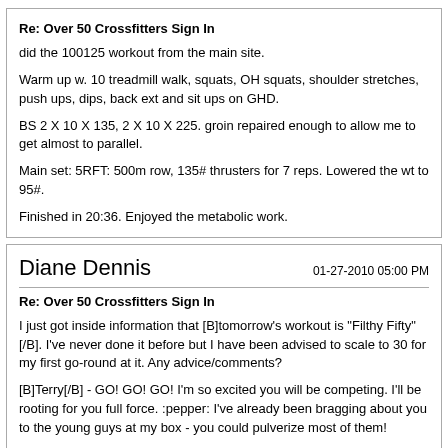Re: Over 50 Crossfitters Sign In
did the 100125 workout from the main site.
Warm up w. 10 treadmill walk, squats, OH squats, shoulder stretches, push ups, dips, back ext and sit ups on GHD.
BS 2 X 10 X 135, 2 X 10 X 225. groin repaired enough to allow me to get almost to parallel.
Main set: 5RFT: 500m row, 135# thrusters for 7 reps. Lowered the wt to 95#.
Finished in 20:36. Enjoyed the metabolic work.
Diane Dennis
01-27-2010 05:00 PM
Re: Over 50 Crossfitters Sign In
I just got inside information that [B]tomorrow's workout is "Filthy Fifty" [/B]. I've never done it before but I have been advised to scale to 30 for my first go-round at it. Any advice/comments?
[B]Terry[/B] - GO! GO! GO! I'm so excited you will be competing. I'll be rooting for you full force. :pepper: I've already been bragging about you to the young guys at my box - you could pulverize most of them!